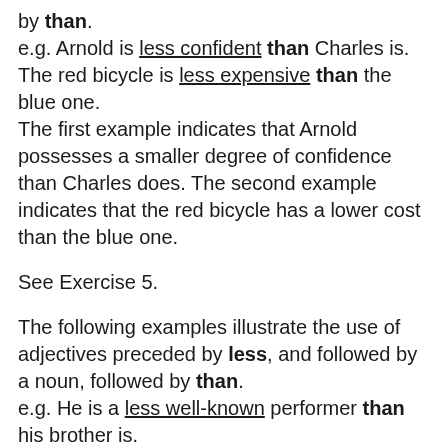by than.
e.g. Arnold is less confident than Charles is. The red bicycle is less expensive than the blue one.
The first example indicates that Arnold possesses a smaller degree of confidence than Charles does. The second example indicates that the red bicycle has a lower cost than the blue one.
See Exercise 5.
The following examples illustrate the use of adjectives preceded by less, and followed by a noun, followed by than.
e.g. He is a less well-known performer than his brother is.
They found themselves in a less fortunate situation than they had expected.